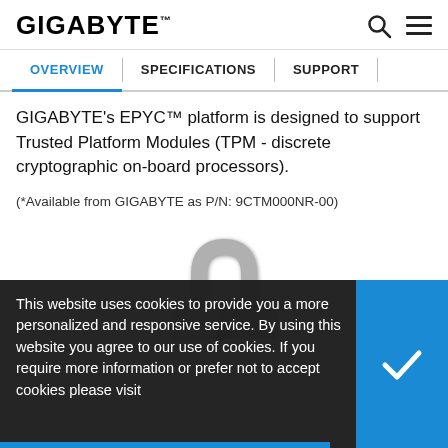GIGABYTE
OVERVIEW | SPECIFICATIONS | SUPPORT
GIGABYTE's EPYC™ platform is designed to support Trusted Platform Modules (TPM - discrete cryptographic on-board processors).
(*Available from GIGABYTE as P/N: 9CTM000NR-00)
[Figure (illustration): Silver padlock icon partially visible]
This website uses cookies to provide you a more personalized and responsive service. By using this website you agree to our use of cookies. If you require more information or prefer not to accept cookies please visit